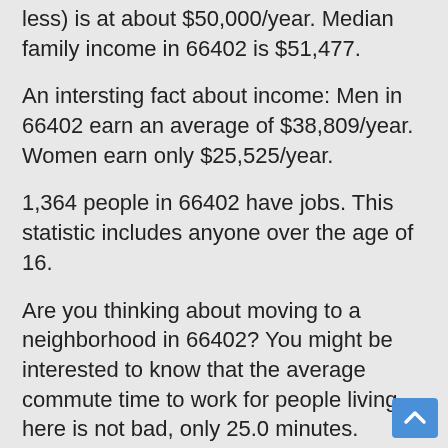less) is at about $50,000/year. Median family income in 66402 is $51,477.
An intersting fact about income: Men in 66402 earn an average of $38,809/year. Women earn only $25,525/year.
1,364 people in 66402 have jobs. This statistic includes anyone over the age of 16.
Are you thinking about moving to a neighborhood in 66402? You might be interested to know that the average commute time to work for people living here is not bad, only 25.0 minutes.
The median age here is 41 . There are 1,454 men and 1,501 women. The median age for men is 41 while for women the median age is 42.
To give you a sense of the community, 1,487 people (out of the 2,955 people live here) have lived in their home at least 5 or more. The Re...